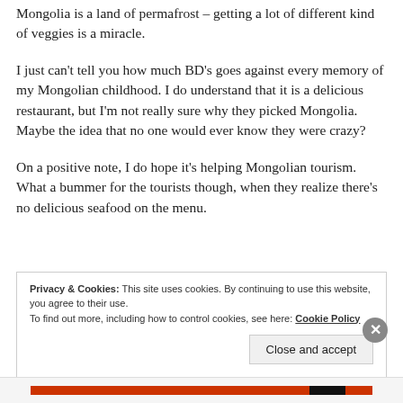Mongolia is a land of permafrost – getting a lot of different kind of veggies is a miracle.
I just can't tell you how much BD's goes against every memory of my Mongolian childhood. I do understand that it is a delicious restaurant, but I'm not really sure why they picked Mongolia. Maybe the idea that no one would ever know they were crazy?
On a positive note, I do hope it's helping Mongolian tourism. What a bummer for the tourists though, when they realize there's no delicious seafood on the menu.
Privacy & Cookies: This site uses cookies. By continuing to use this website, you agree to their use. To find out more, including how to control cookies, see here: Cookie Policy